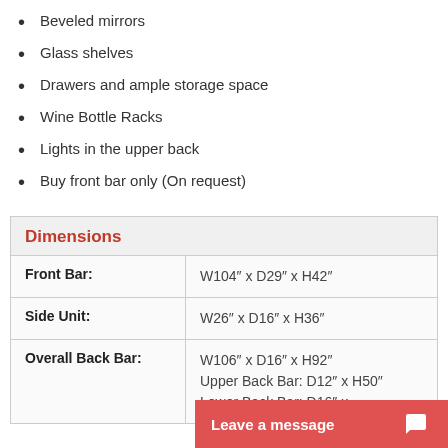Beveled mirrors
Glass shelves
Drawers and ample storage space
Wine Bottle Racks
Lights in the upper back
Buy front bar only (On request)
|  | Dimensions |
| --- | --- |
| Front Bar: | W104″ x D29″ x H42″ |
| Side Unit: | W26″ x D16″ x H36″ |
| Overall Back Bar: | W106″ x D16″ x H92″
Upper Back Bar: D12″ x H50″
Lower Back Bar: D16″ x |